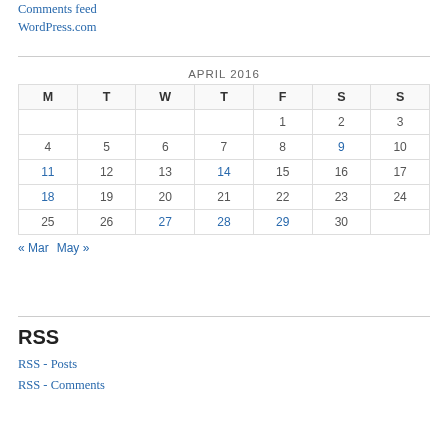Comments feed
WordPress.com
| M | T | W | T | F | S | S |
| --- | --- | --- | --- | --- | --- | --- |
|  |  |  |  | 1 | 2 | 3 |
| 4 | 5 | 6 | 7 | 8 | 9 | 10 |
| 11 | 12 | 13 | 14 | 15 | 16 | 17 |
| 18 | 19 | 20 | 21 | 22 | 23 | 24 |
| 25 | 26 | 27 | 28 | 29 | 30 |  |
« Mar   May »
RSS
RSS - Posts
RSS - Comments